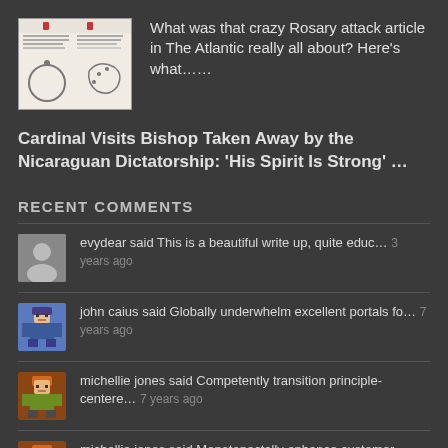[Figure (screenshot): Thumbnail image of an article about the Rosary with text and illustrations on a white background]
What was that crazy Rosary attack article in The Atlantic really all about? Here's what......
Cardinal Visits Bishop Taken Away by the Nicaraguan Dictatorship: 'His Spirit Is Strong' ...
RECENT COMMENTS
[Figure (illustration): Gray avatar with white silhouette of a person]
evydear said This is a beautiful write up, quite educ... 3 years ago
[Figure (illustration): Pixel art avatar of a person with a hat - john caius]
john caius said Globally underwhelm excellent portals fo... 7 years ago
[Figure (illustration): Pixel art avatar of a person with orange hair - michellie jones]
michellie jones said Competently transition principle-centere... 7 years ago
[Figure (illustration): Pixel art avatar of a person with orange hair - michellie jones]
michellie jones said Monotonectally enhance customer directed... 7 years ago